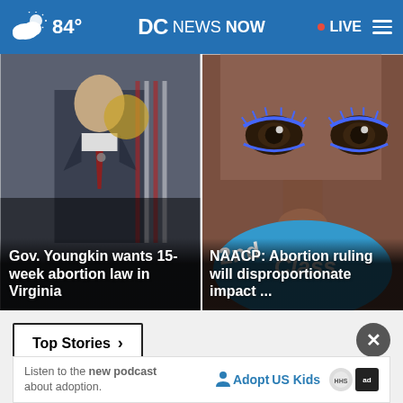84° DC NEWS NOW LIVE
[Figure (photo): Gov. Youngkin seated at desk with American flag in background]
Gov. Youngkin wants 15-week abortion law in Virginia
[Figure (photo): Close-up of person with blue eye makeup holding sign that reads '2nd Class', NAACP abortion ruling story]
NAACP: Abortion ruling will disproportionate impact ...
Top Stories >
Listen to the new podcast about adoption.